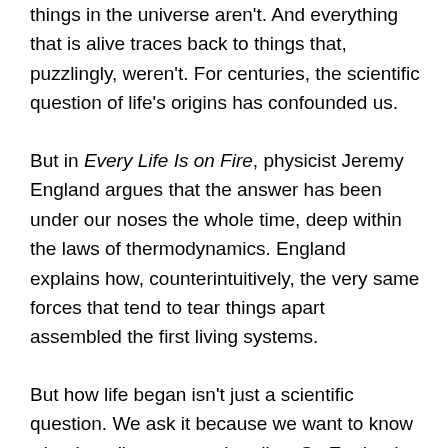things in the universe aren't. And everything that is alive traces back to things that, puzzlingly, weren't. For centuries, the scientific question of life's origins has confounded us.
But in Every Life Is on Fire, physicist Jeremy England argues that the answer has been under our noses the whole time, deep within the laws of thermodynamics. England explains how, counterintuitively, the very same forces that tend to tear things apart assembled the first living systems.
But how life began isn't just a scientific question. We ask it because we want to know what it really means to be alive. So England, an ordained rabbi, uses his theory to examine how, if at all, science helps us find purpose in a vast and mysterious universe.